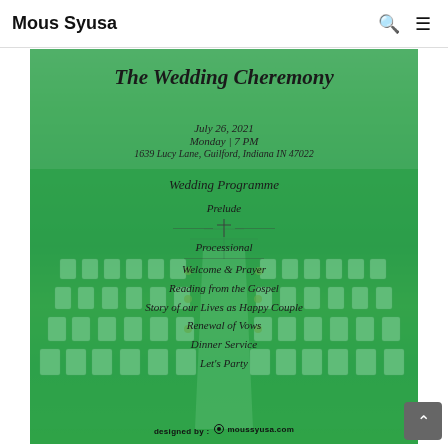Mous Syusa
[Figure (illustration): Wedding ceremony programme card with green-tinted outdoor venue background showing white chairs arranged in rows along a central aisle. Card contains title 'The Wedding Cheremony', date/time/location details, and a list of programme items.]
The Wedding Cheremony
July 26, 2021
Monday | 7 PM
1639 Lucy Lane, Guilford, Indiana IN 47022
Wedding Programme
Prelude
Processional
Welcome & Prayer
Reading from the Gospel
Story of our Lives as Happy Couple
Renewal of Vows
Dinner Service
Let's Party
designed by : moussyusa.com